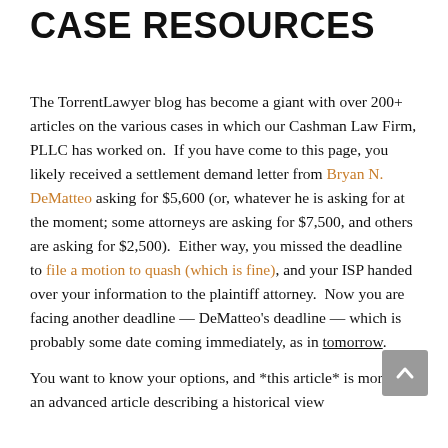CASE RESOURCES
The TorrentLawyer blog has become a giant with over 200+ articles on the various cases in which our Cashman Law Firm, PLLC has worked on.  If you have come to this page, you likely received a settlement demand letter from Bryan N. DeMatteo asking for $5,600 (or, whatever he is asking for at the moment; some attorneys are asking for $7,500, and others are asking for $2,500).  Either way, you missed the deadline to file a motion to quash (which is fine), and your ISP handed over your information to the plaintiff attorney.  Now you are facing another deadline — DeMatteo's deadline — which is probably some date coming immediately, as in tomorrow.
You want to know your options, and *this article* is more of an advanced article describing a historical view